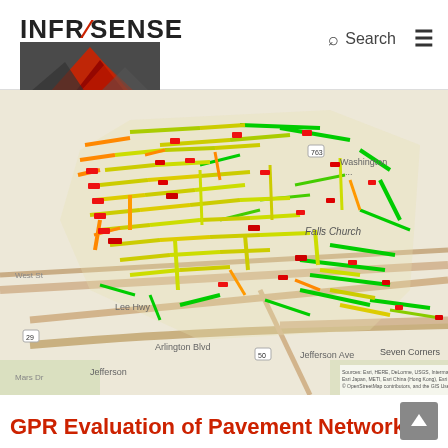INFRASENSE | Search
[Figure (map): GIS map of Falls Church, Virginia area showing a pavement network evaluation with color-coded road segments (green, yellow, orange, red) indicating pavement condition. Sources: Esri, HERE, DeLorme, USGS, Intermap, increment P Corp., NRCAN, Esri Japan, METI, Esri China (Hong Kong), Esri (Thailand), TomTom, Mapmyindia, © OpenStreetMap contributors, and the GIS User Community.]
GPR Evaluation of Pavement Network